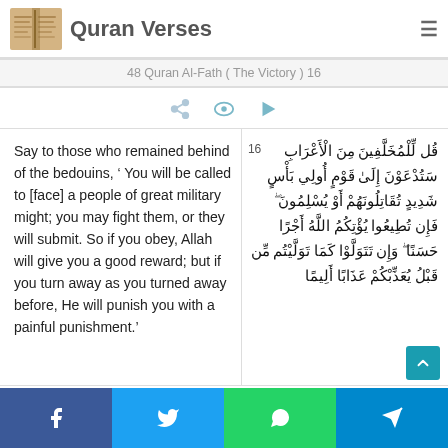Quran Verses
48 Quran Al-Fath ( The Victory ) 16
Say to those who remained behind of the bedouins, ‘ You will be called to [face] a people of great military might; you may fight them, or they will submit. So if you obey, Allah will give you a good reward; but if you turn away as you turned away before, He will punish you with a painful punishment.’
16 قل للمُخلَّفِينَ مِنَ الأعرابِ ستُدعَونَ إلى قومِ أولي بأسِ شديدِ تُقاتِلونهُم أو يُسلِمونَ ⁠ فإن تُطِيعوا يُؤتِكُمُ اللهُ أجرًا حَسَنًا ُ،وإن تتَولَّوا كَما تَولَّيتُم مِن قَبلُ يعذِبكُم عذابًا أليمًا
Facebook Twitter WhatsApp Telegram